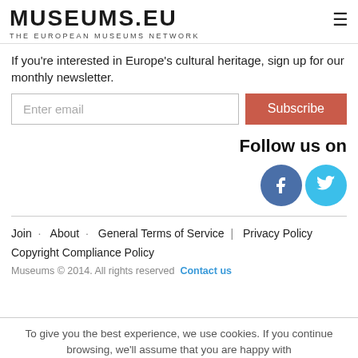MUSEUMS.EU THE EUROPEAN MUSEUMS NETWORK
If you're interested in Europe's cultural heritage, sign up for our monthly newsletter.
Enter email [input field] Subscribe [button]
Follow us on
[Figure (illustration): Facebook and Twitter social media circular icon buttons]
Join · About · General Terms of Service | Privacy Policy Copyright Compliance Policy
Museums © 2014. All rights reserved Contact us
To give you the best experience, we use cookies. If you continue browsing, we'll assume that you are happy with